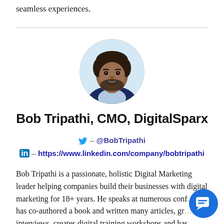seamless experiences.
[Figure (photo): Circular headshot photo of Bob Tripathi, a man with dark hair and beard, smiling, wearing a dark jacket]
Bob Tripathi, CMO, DigitalSparx
🐦 – @BobTripathi
in – https://www.linkedin.com/company/bobtripathi
Bob Tripathi is a passionate, holistic Digital Marketing leader helping companies build their businesses with digital marketing for 18+ years. He speaks at numerous conf… has co-authored a book and written many articles, gr… interviews, creates digital training workshops and has hosted